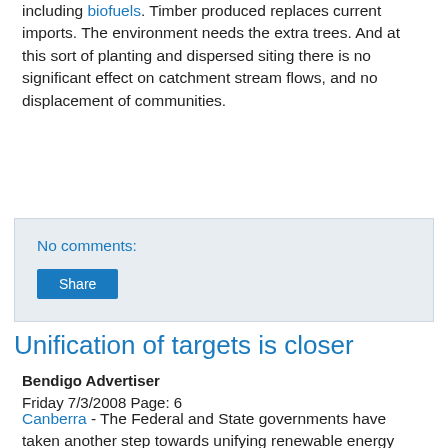including biofuels. Timber produced replaces current imports. The environment needs the extra trees. And at this sort of planting and dispersed siting there is no significant effect on catchment stream flows, and no displacement of communities.
No comments:
Share
Unification of targets is closer
Bendigo Advertiser
Friday 7/3/2008 Page: 6
Canberra - The Federal and State governments have taken another step towards unifying renewable energy targets, Federal Climate Change Minister Penny Wong says. After a meeting of climate change ministers in Sydney yesterday, Senator Wong said the governments would next consider a plan to implement the Renewable Energy Target by next